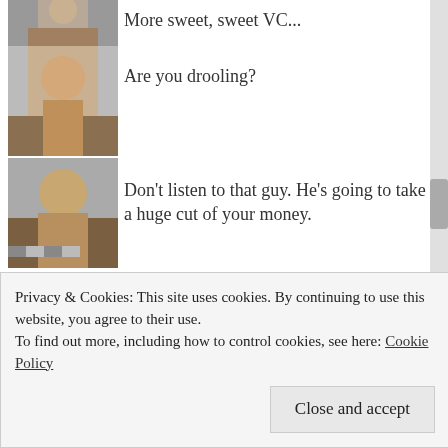[Figure (photo): Character avatar - partial view at top]
More sweet, sweet VC...
[Figure (photo): Character avatar - dark haired male]
Are you drooling?
[Figure (photo): Character avatar - bald male]
Don't listen to that guy. He's going to take a huge cut of your money.
[Figure (photo): Character avatar - male with short hair]
Also I'm your best friend.
[Figure (photo): Character avatar - dark male]
I don't respond to guilt, man.
Privacy & Cookies: This site uses cookies. By continuing to use this website, you agree to their use.
To find out more, including how to control cookies, see here: Cookie Policy
Close and accept